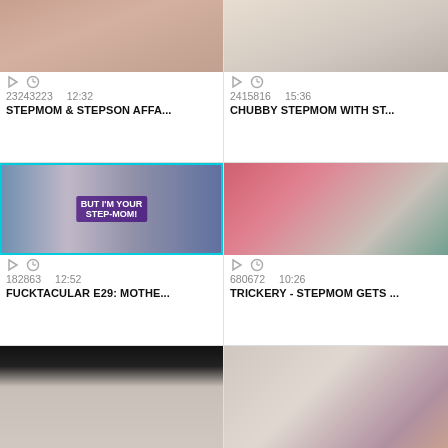[Figure (screenshot): Video thumbnail - top left, skin tones close-up]
23243223   12:32
STEPMOM & STEPSON AFFA...
[Figure (screenshot): Video thumbnail - top right, bedroom scene]
2415816   15:36
CHUBBY STEPMOM WITH ST...
[Figure (screenshot): Video thumbnail - middle left, woman with text BUT I'M YOUR STEP-MOM! in blue lingerie triptych]
182863   12:52
FUCKTACULAR E29: MOTHE...
[Figure (screenshot): Video thumbnail - middle right, blonde woman and man on couch, pink wall]
680672   10:26
TRICKERY - STEPMOM GETS ...
[Figure (screenshot): Video thumbnail - bottom left, dark top bar, figure with white/blonde hair]
[Figure (screenshot): Video thumbnail - bottom right, two figures on bed, light room]